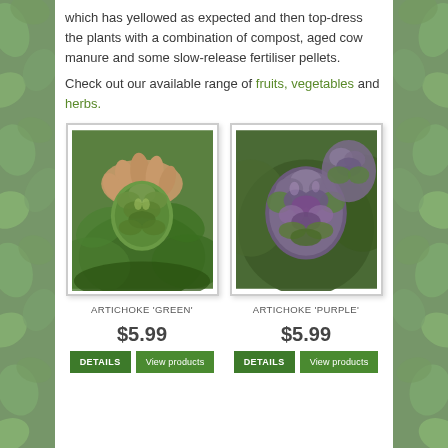which has yellowed as expected and then top-dress the plants with a combination of compost, aged cow manure and some slow-release fertiliser pellets.
Check out our available range of fruits, vegetables and herbs.
[Figure (photo): A hand holding a green artichoke among large green leaves in a garden]
ARTICHOKE 'GREEN'
$5.99
[Figure (photo): Close-up of a purple and green artichoke head]
ARTICHOKE 'PURPLE'
$5.99